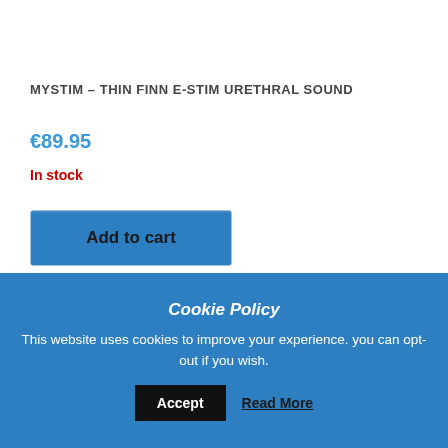MYSTIM – THIN FINN E-STIM URETHRAL SOUND
€89.95
In stock
Add to cart
[Figure (photo): Black urethral sound/plug product against white background]
Cookie Policy
This website uses cookies to improve your experience. you can opt-out if you wish.
Accept
Read More